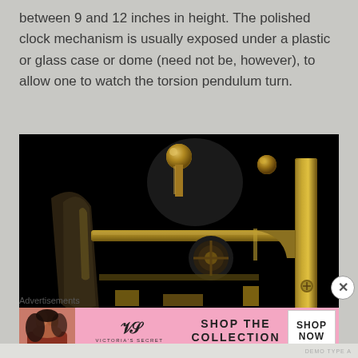between 9 and 12 inches in height. The polished clock mechanism is usually exposed under a plastic or glass case or dome (need not be, however), to allow one to watch the torsion pendulum turn.
[Figure (photo): Close-up photograph of a polished brass clock mechanism against a black background, showing gears, cylindrical components, and mechanical parts of a torsion pendulum clock.]
Advertisements
[Figure (photo): Victoria's Secret advertisement banner with a woman model on the left, the VS logo in the center, text reading 'SHOP THE COLLECTION', and a 'SHOP NOW' button on the right, on a pink background.]